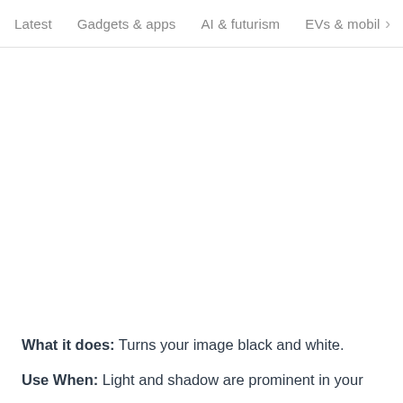Latest   Gadgets & apps   AI & futurism   EVs & mobil >
[Figure (photo): Large white/blank image area below the navigation bar]
What it does: Turns your image black and white.
Use When: Light and shadow are prominent in your